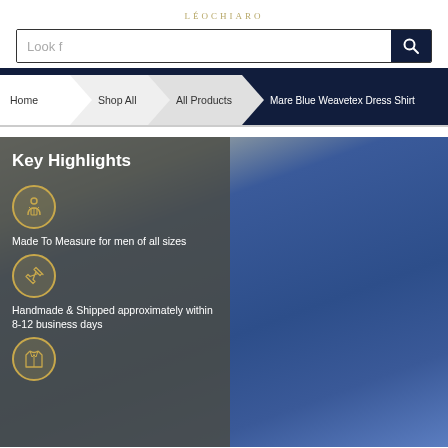LÉOCHIARO
Look f
Home > Shop All > All Products > Mare Blue Weavetex Dress Shirt
[Figure (photo): Key Highlights panel over product photo of man wearing a blue dress shirt. Includes: Made To Measure for men of all sizes (with tailor icon), Handmade & Shipped approximately within 8-12 business days (with airplane icon), and a third icon (jacket).]
Key Highlights
Made To Measure for men of all sizes
Handmade & Shipped approximately within 8-12 business days